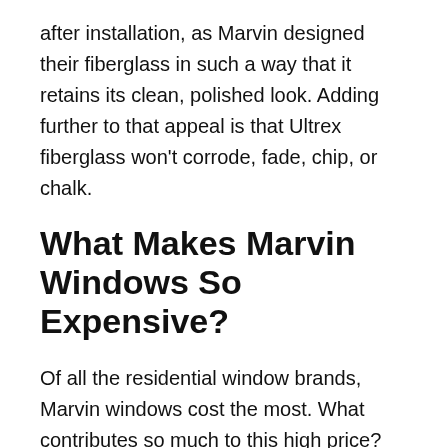after installation, as Marvin designed their fiberglass in such a way that it retains its clean, polished look. Adding further to that appeal is that Ultrex fiberglass won't corrode, fade, chip, or chalk.
What Makes Marvin Windows So Expensive?
Of all the residential window brands, Marvin windows cost the most. What contributes so much to this high price?
The materials used are of the utmost